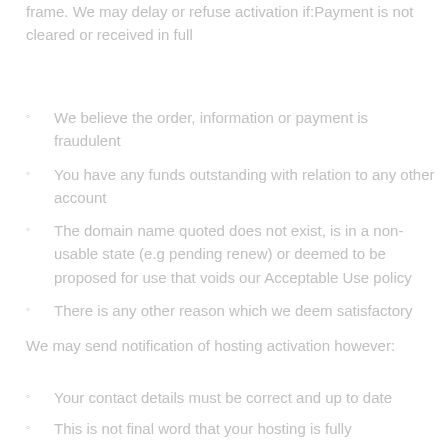frame. We may delay or refuse activation if:Payment is not cleared or received in full
We believe the order, information or payment is fraudulent
You have any funds outstanding with relation to any other account
The domain name quoted does not exist, is in a non-usable state (e.g pending renew) or deemed to be proposed for use that voids our Acceptable Use policy
There is any other reason which we deem satisfactory
We may send notification of hosting activation however:
Your contact details must be correct and up to date
This is not final word that your hosting is fully